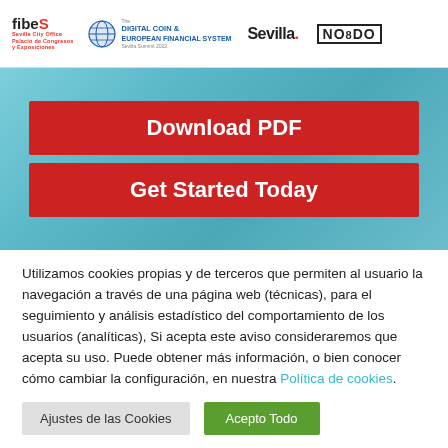[Figure (logo): Header with logos: fibeS Sevilla City Office, The Digital Coin & European Financial System, Sevilla., NO8DO]
[Figure (screenshot): Blue background hero area with two red buttons: Download PDF and Get Started Today]
Utilizamos cookies propias y de terceros que permiten al usuario la navegación a través de una página web (técnicas), para el seguimiento y análisis estadístico del comportamiento de los usuarios (analíticas), Si acepta este aviso consideraremos que acepta su uso. Puede obtener más información, o bien conocer cómo cambiar la configuración, en nuestra Política de cookies.
Ajustes de las Cookies   Acepto Todo